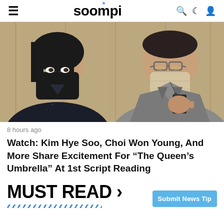soompi
[Figure (photo): Two people wearing face masks sitting side by side. The person on the left wears a black mask and dark clothes. The person on the right wears a beige mask and a gray suit and holds a device.]
8 hours ago
Watch: Kim Hye Soo, Choi Won Young, And More Share Excitement For “The Queen’s Umbrella” At 1st Script Reading
MUST READ ›
Submit News Tip